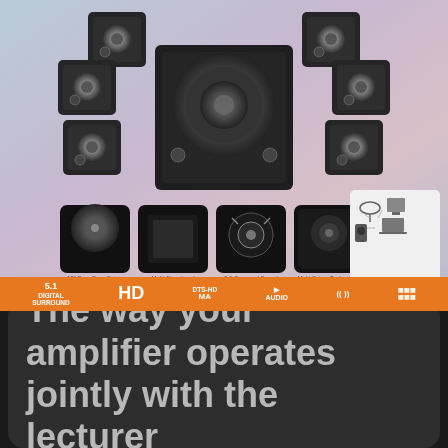[Figure (photo): Product image of a 5.1 surround sound speaker system with a large subwoofer in the center and multiple satellite speakers arranged around it, on a blue-purple gradient background. Below the speakers are four feature icon thumbnails labeled: 10" Pure-Bass Driver, Multi-Directional, 5.1 Surround Sound, Multi-Driver Technology. To the right is a connectivity diagram showing various devices. An orange bar at bottom contains audio technology logos: 5.1 Digital Surround, HD, DTS-HD, and other audio badges.]
The way your amplifier operates jointly with the lecturer